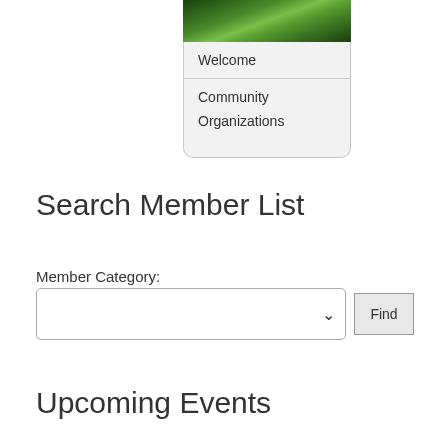[Figure (screenshot): Navigation card showing photo of green foliage at top, with menu items: Welcome, Community, Organizations]
Search Member List
Member Category:
[Figure (screenshot): Dropdown select box with chevron arrow and Find button]
Upcoming Events